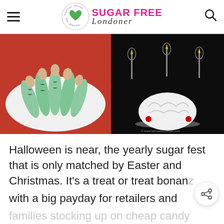SUGAR FREE Londoner
[Figure (photo): Two Halloween food photos side by side: left shows green witch finger cookies with almond nails on a white plate with red fabric, right shows a white brain-shaped dessert on a cake stand with candles on a dark background with © www.lowcarbsosimple.com watermark]
Halloween is near, the yearly sugar fest that is only matched by Easter and Christmas. It's a treat or treat bonanza with a big payday for retailers and families stocking up on cheap candy